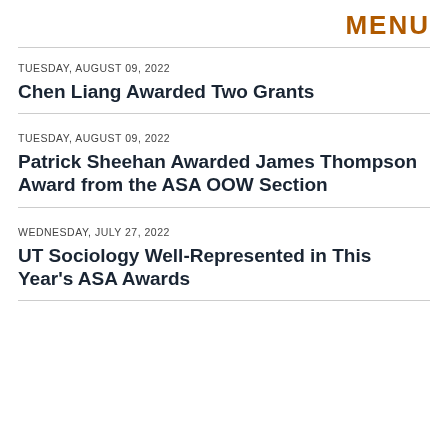MENU
TUESDAY, AUGUST 09, 2022
Chen Liang Awarded Two Grants
TUESDAY, AUGUST 09, 2022
Patrick Sheehan Awarded James Thompson Award from the ASA OOW Section
WEDNESDAY, JULY 27, 2022
UT Sociology Well-Represented in This Year's ASA Awards